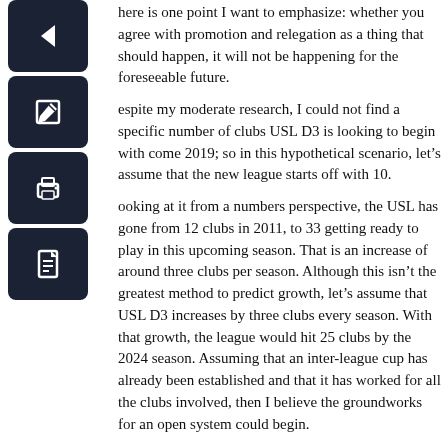[Figure (other): Four dark navigation/action icon buttons stacked vertically on the left: back arrow, edit, print, document/PDF]
There is one point I want to emphasize: whether you agree with promotion and relegation as a thing that should happen, it will not be happening for the foreseeable future.
Despite my moderate research, I could not find a specific number of clubs USL D3 is looking to begin with come 2019; so in this hypothetical scenario, let’s assume that the new league starts off with 10.
Looking at it from a numbers perspective, the USL has gone from 12 clubs in 2011, to 33 getting ready to play in this upcoming season. That is an increase of around three clubs per season. Although this isn’t the greatest method to predict growth, let’s assume that USL D3 increases by three clubs every season. With that growth, the league would hit 25 clubs by the 2024 season. Assuming that an inter-league cup has already been established and that it has worked for all the clubs involved, then I believe the groundworks for an open system could begin.
Aside from having an appropriate number of clubs, there is also one massive issue we need to account for: geography.
[Figure (photo): Image result for usl d3 - broken image placeholder]